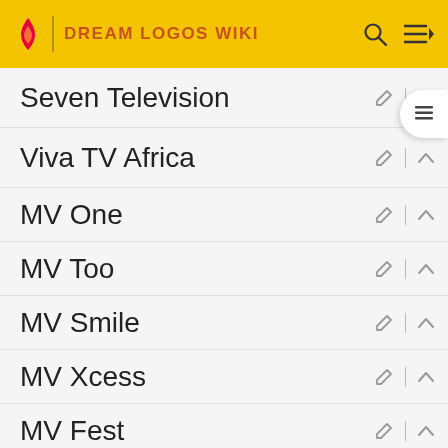DREAM LOGOS WIKI
Seven Television
Viva TV Africa
MV One
MV Too
MV Smile
MV Xcess
MV Fest